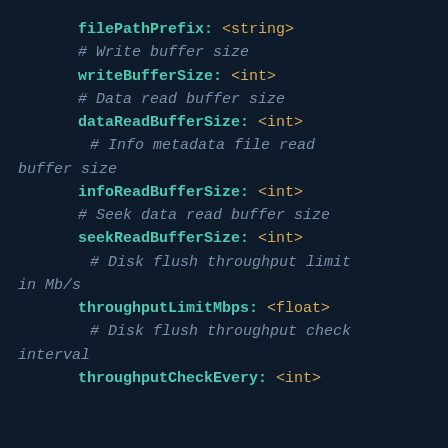filePathPrefix: <string>
# Write buffer size
writeBufferSize: <int>
# Data read buffer size
dataReadBufferSize: <int>
# Info metadata file read buffer size
infoReadBufferSize: <int>
# Seek data read buffer size
seekReadBufferSize: <int>
# Disk flush throughput limit in Mb/s
throughputLimitMbps: <float>
# Disk flush throughput check interval
throughputCheckEvery: <int>